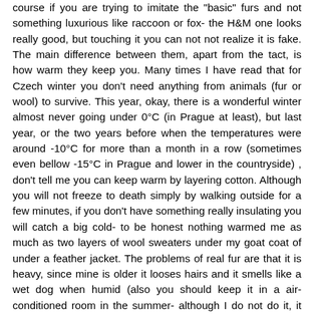course if you are trying to imitate the "basic" furs and not something luxurious like raccoon or fox- the H&M one looks really good, but touching it you can not not realize it is fake. The main difference between them, apart from the tact, is how warm they keep you. Many times I have read that for Czech winter you don't need anything from animals (fur or wool) to survive. This year, okay, there is a wonderful winter almost never going under 0°C (in Prague at least), but last year, or the two years before when the temperatures were around -10°C for more than a month in a row (sometimes even bellow -15°C in Prague and lower in the countryside) , don't tell me you can keep warm by layering cotton. Although you will not freeze to death simply by walking outside for a few minutes, if you don't have something really insulating you will catch a big cold- to be honest nothing warmed me as much as two layers of wool sweaters under my goat coat of under a feather jacket. The problems of real fur are that it is heavy, since mine is older it looses hairs and it smells like a wet dog when humid (also you should keep it in a air-conditioned room in the summer- although I do not do it, it does not sound really ecologic). The fake one is much lighter but medium to strong wind can pass trough it and under 0°C